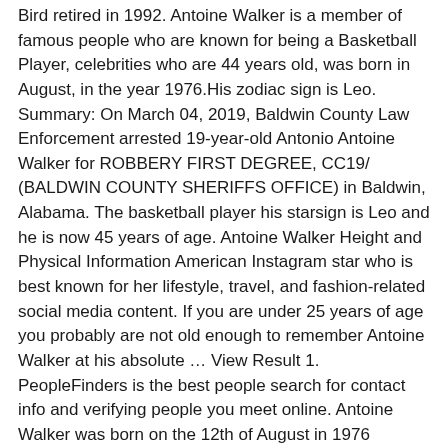Bird retired in 1992. Antoine Walker is a member of famous people who are known for being a Basketball Player, celebrities who are 44 years old, was born in August, in the year 1976.His zodiac sign is Leo. Summary: On March 04, 2019, Baldwin County Law Enforcement arrested 19-year-old Antonio Antoine Walker for ROBBERY FIRST DEGREE, CC19/ (BALDWIN COUNTY SHERIFFS OFFICE) in Baldwin, Alabama. The basketball player his starsign is Leo and he is now 45 years of age. Antoine Walker Height and Physical Information American Instagram star who is best known for her lifestyle, travel, and fashion-related social media content. If you are under 25 years of age you probably are not old enough to remember Antoine Walker at his absolute … View Result 1. PeopleFinders is the best people search for contact info and verifying people you meet online. Antoine Walker was born on the 12th of August in 1976 (Generation X). Popular As. Family: He was engaged to Evelyn Lozada, who appeared on the show Basketball Wives. Player Antoine Walker arrives at the 2008 ESPY Awards held at NOKIA Theatre L.A. LIVE on July 16, 2008 … Antoine Walker, Stefan Alfredcarter Walker, age 40, Owings Mills, MD